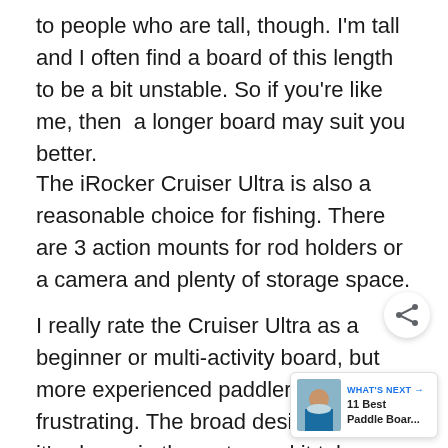to people who are tall, though. I'm tall and I often find a board of this length to be a bit unstable. So if you're like me, then  a longer board may suit you better.
The iRocker Cruiser Ultra is also a reasonable choice for fishing. There are 3 action mounts for rod holders or a camera and plenty of storage space.
I really rate the Cruiser Ultra as a beginner or multi-activity board, but more experienced paddlers may find it frustrating. The broad design means it's slower in the water and it takes more effect to paddle than othe. this is a concern for you, then the Blackfin CX
[Figure (other): Share icon button (circular white button with share/network icon)]
[Figure (other): What's Next widget showing a paddle boarder image with text 'WHAT'S NEXT → 11 Best Paddle Boar...']